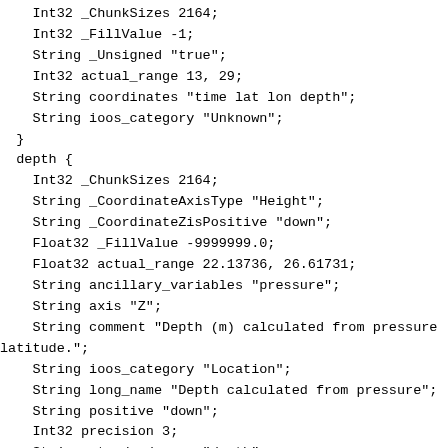Int32 _ChunkSizes 2164;
    Int32 _FillValue -1;
    String _Unsigned "true";
    Int32 actual_range 13, 29;
    String coordinates "time lat lon depth";
    String ioos_category "Unknown";
  }
  depth {
    Int32 _ChunkSizes 2164;
    String _CoordinateAxisType "Height";
    String _CoordinateZisPositive "down";
    Float32 _FillValue -9999999.0;
    Float32 actual_range 22.13736, 26.61731;
    String ancillary_variables "pressure";
    String axis "Z";
    String comment "Depth (m) calculated from pressure
latitude.";
    String ioos_category "Location";
    String long_name "Depth calculated from pressure";
    String positive "down";
    Int32 precision 3;
    String standard_name "depth";
    String units "m";
  }
  density_qc_results {
    Int32  ChunkSizes 2164;